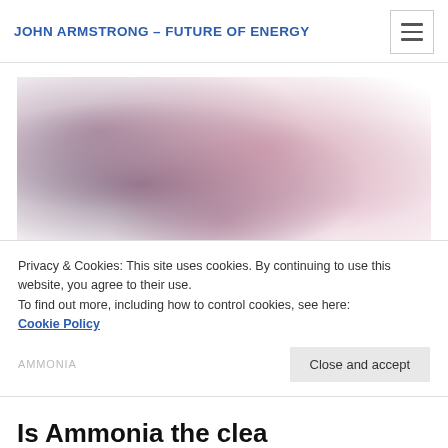JOHN ARMSTRONG – FUTURE OF ENERGY
[Figure (photo): Colorful pink and purple smoke cloud photograph used as hero image]
Privacy & Cookies: This site uses cookies. By continuing to use this website, you agree to their use.
To find out more, including how to control cookies, see here:
Cookie Policy
Is Ammonia the clea…